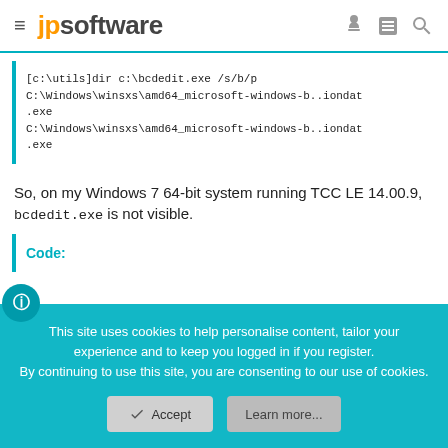jpsoftware
[c:\utils]dir c:\bcdedit.exe /s/b/p
C:\Windows\winsxs\amd64_microsoft-windows-b..iondat.exe
C:\Windows\winsxs\amd64_microsoft-windows-b..iondat.exe
So, on my Windows 7 64-bit system running TCC LE 14.00.9, bcdedit.exe is not visible.
Code:
This site uses cookies to help personalise content, tailor your experience and to keep you logged in if you register.
By continuing to use this site, you are consenting to our use of cookies.